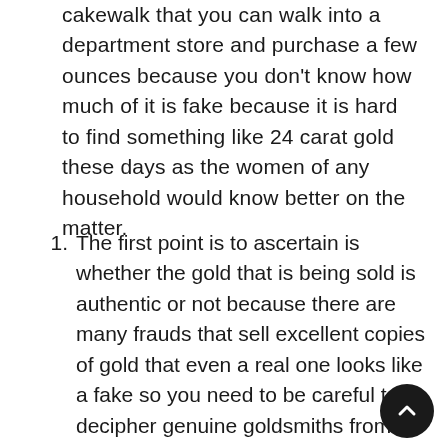cakewalk that you can walk into a department store and purchase a few ounces because you don't know how much of it is fake because it is hard to find something like 24 carat gold these days as the women of any household would know better on the matter.
The first point is to ascertain is whether the gold that is being sold is authentic or not because there are many frauds that sell excellent copies of gold that even a real one looks like a fake so you need to be careful to decipher genuine goldsmiths from fake ones.
The American Hartford Gold review is something that you should look up where would get all the important points on how protect your wealth and help identify the